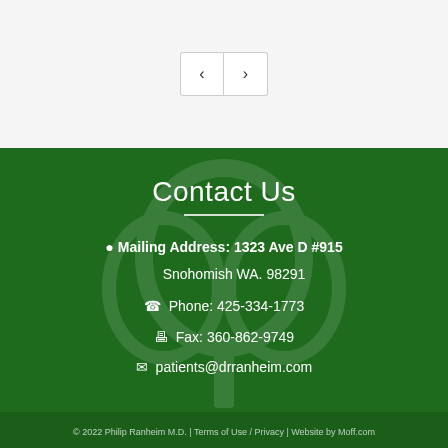[Figure (other): Navigation previous/next buttons (carousel controls) on a light gray background]
Contact Us
Mailing Address: 1323 Ave D #915 Snohomish WA. 98291
Phone: 425-334-1773
Fax: 360-862-9749
patients@drranheim.com
© 2022 Philip Ranheim M.D. | Terms of Use / Privacy | Website by Moff.com